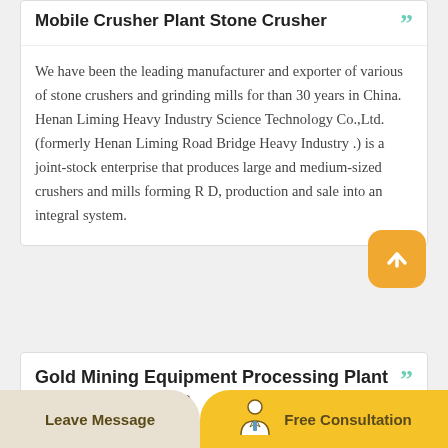Mobile Crusher Plant Stone Crusher
We have been the leading manufacturer and exporter of various of stone crushers and grinding mills for than 30 years in China. Henan Liming Heavy Industry Science Technology Co.,Ltd. (formerly Henan Liming Road Bridge Heavy Industry .) is a joint-stock enterprise that produces large and medium-sized crushers and mills forming R D, production and sale into an integral system.
Gold Mining Equipment Processing Plant Crushing Machine
Leave Message   Free Consultation